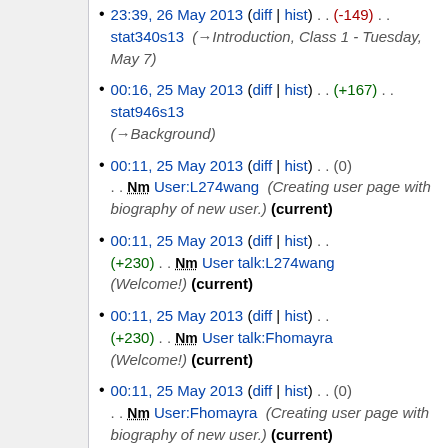23:39, 26 May 2013 (diff | hist) . . (-149) . . stat340s13 (→Introduction, Class 1 - Tuesday, May 7)
00:16, 25 May 2013 (diff | hist) . . (+167) . . stat946s13 (→Background)
00:11, 25 May 2013 (diff | hist) . . (0) . . Nm User:L274wang (Creating user page with biography of new user.) (current)
00:11, 25 May 2013 (diff | hist) . . (+230) . . Nm User talk:L274wang (Welcome!) (current)
00:11, 25 May 2013 (diff | hist) . . (+230) . . Nm User talk:Fhomayra (Welcome!) (current)
00:11, 25 May 2013 (diff | hist) . . (0) . . Nm User:Fhomayra (Creating user page with biography of new user.) (current)